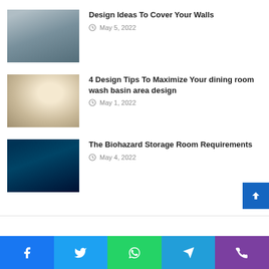[Figure (photo): Living room with blue sofa and tripod floor lamp against dark wall]
Design Ideas To Cover Your Walls
May 5, 2022
[Figure (photo): Bathroom with round arched mirror, white bathtub, and plant]
4 Design Tips To Maximize Your dining room wash basin area design
May 1, 2022
[Figure (photo): Blue-lit corridor with server racks or storage lockers]
The Biohazard Storage Room Requirements
May 4, 2022